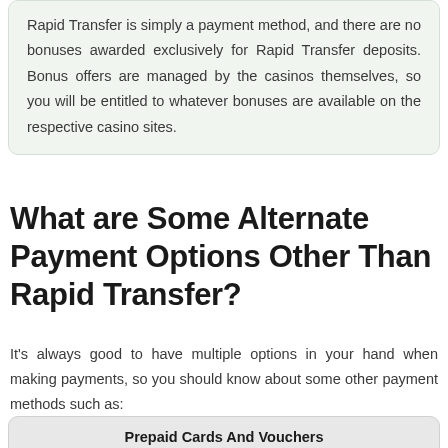Rapid Transfer is simply a payment method, and there are no bonuses awarded exclusively for Rapid Transfer deposits. Bonus offers are managed by the casinos themselves, so you will be entitled to whatever bonuses are available on the respective casino sites.
What are Some Alternate Payment Options Other Than Rapid Transfer?
It's always good to have multiple options in your hand when making payments, so you should know about some other payment methods such as:
Prepaid Cards And Vouchers